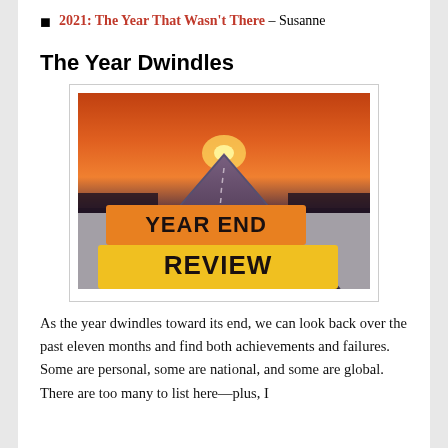2021: The Year That Wasn't There – Susanne
The Year Dwindles
[Figure (photo): Two stacked yellow/orange rectangular signs on a road at sunset reading 'YEAR END' and 'REVIEW' in bold black text, with a straight road disappearing into a vivid orange sunset horizon.]
As the year dwindles toward its end, we can look back over the past eleven months and find both achievements and failures. Some are personal, some are national, and some are global. There are too many to list here—plus, I